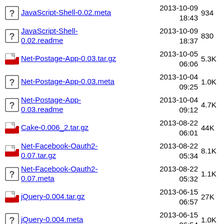JavaScript-Shell-0.02.meta  2013-10-09 18:43  934
JavaScript-Shell-0.02.readme  2013-10-09 18:37  830
Net-Postage-App-0.03.tar.gz  2013-10-05 06:06  5.3K
Net-Postage-App-0.03.meta  2013-10-04 09:25  1.0K
Net-Postage-App-0.03.readme  2013-10-04 09:12  4.7K
Cake-0.006_2.tar.gz  2013-08-22 06:01  44K
Net-Facebook-Oauth2-0.07.tar.gz  2013-08-22 05:34  8.1K
Net-Facebook-Oauth2-0.07.meta  2013-08-22 05:32  1.1K
jQuery-0.004.tar.gz  2013-06-15 06:57  27K
jQuery-0.004.meta  2013-06-15 06:54  1.0K
HTTP-UA-Parser-0.005.tar.gz  2013-06-06 22:05  16K